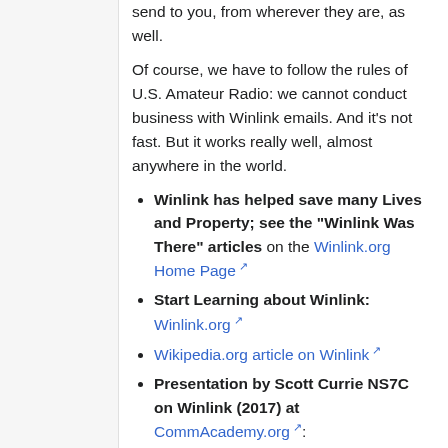send to you, from wherever they are, as well.
Of course, we have to follow the rules of U.S. Amateur Radio: we cannot conduct business with Winlink emails. And it's not fast. But it works really well, almost anywhere in the world.
Winlink has helped save many Lives and Property; see the "Winlink Was There" articles on the Winlink.org Home Page
Start Learning about Winlink: Winlink.org
Wikipedia.org article on Winlink
Presentation by Scott Currie NS7C on Winlink (2017) at CommAcademy.org:
(PDF download)
(PowerPoint download)